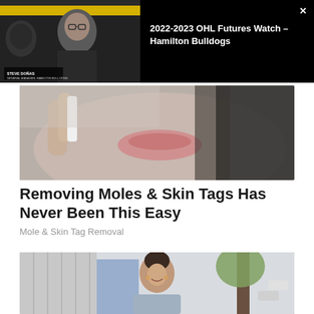[Figure (screenshot): Video thumbnail showing a man with glasses in front of a Hamilton Bulldogs logo background]
2022-2023 OHL Futures Watch – Hamilton Bulldogs
[Figure (photo): Close-up photo of a person touching their face near the chin area, used in a skin tag/mole removal advertisement]
Removing Moles & Skin Tags Has Never Been This Easy
Mole & Skin Tag Removal
[Figure (photo): Photo of a smiling young woman standing outdoors near a tree and building]